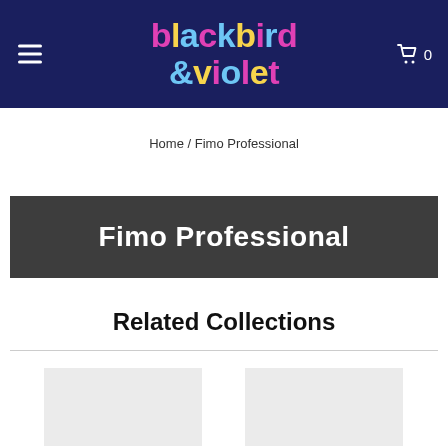blackbird &violet
Home / Fimo Professional
Fimo Professional
Related Collections
[Figure (other): Two product image placeholders (light grey boxes) for related collections]
[Figure (other): Second product image placeholder]